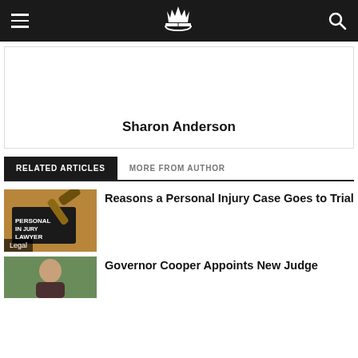Sharon Anderson — site header with navigation and logo
Sharon Anderson
RELATED ARTICLES   MORE FROM AUTHOR
[Figure (photo): Gavel on a wooden surface next to a book labeled PERSONAL INJURY LAWYER, with a Legal category tag overlay]
Reasons a Personal Injury Case Goes to Trial
[Figure (photo): Portrait of a woman, partially visible, related to Governor Cooper article]
Governor Cooper Appoints New Judge